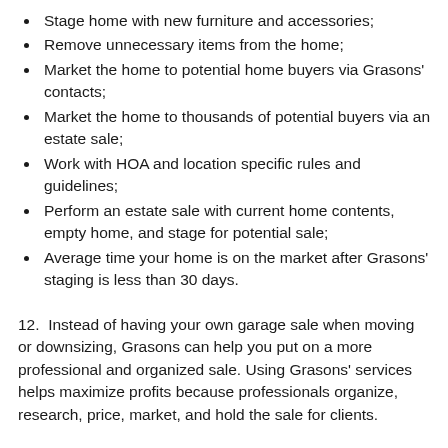Stage home with new furniture and accessories;
Remove unnecessary items from the home;
Market the home to potential home buyers via Grasons' contacts;
Market the home to thousands of potential buyers via an estate sale;
Work with HOA and location specific rules and guidelines;
Perform an estate sale with current home contents, empty home, and stage for potential sale;
Average time your home is on the market after Grasons' staging is less than 30 days.
12.  Instead of having your own garage sale when moving or downsizing, Grasons can help you put on a more professional and organized sale. Using Grasons' services helps maximize profits because professionals organize, research, price, market, and hold the sale for clients.
13.  Besides helping people sell off their items, Grasons will